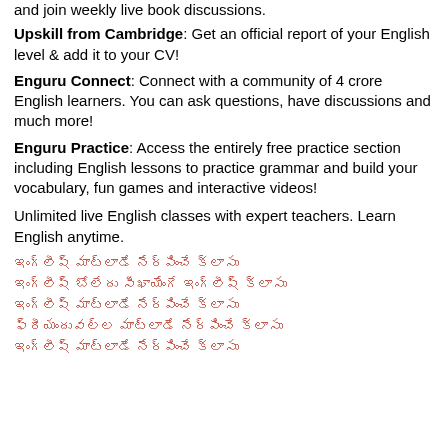and join weekly live book discussions.
Upskill from Cambridge: Get an official report of your English level & add it to your CV!
Enguru Connect: Connect with a community of 4 crore English learners. You can ask questions, have discussions and much more!
Enguru Practice: Access the entirely free practice section including English lessons to practice grammar and build your vocabulary, fun games and interactive videos!
Unlimited live English classes with expert teachers. Learn English anytime.
ఇంగ్లీష్ మాట్లాడే నేర్పించే క్లాసు
ఇంగ్లీష్ బోలేదు సీఖాయేంగే ఇంగ్లీష్ క్లాసు
ఇంగ్లీష్ మాట్లాడే నేర్పించే క్లాసు
ఫ్రీయందువల్ల మాట్లాడే నేర్పించే క్లాసు
ఇంగ్లీష్ మాట్లాడే నేర్పించే క్లాసు